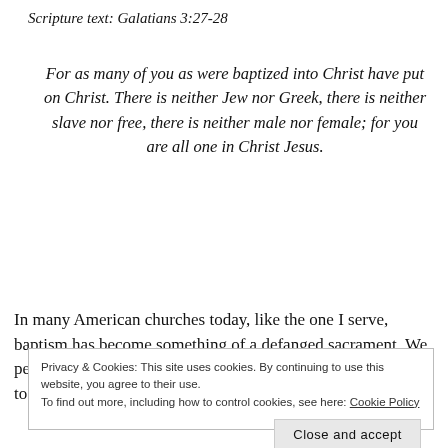Scripture text: Galatians 3:27-28
For as many of you as were baptized into Christ have put on Christ. There is neither Jew nor Greek, there is neither slave nor free, there is neither male nor female; for you are all one in Christ Jesus.
In many American churches today, like the one I serve, baptism has become something of a defanged sacrament. We perform it most often on babies. And so a congregation tends to coo like the baby itself, as
Privacy & Cookies: This site uses cookies. By continuing to use this website, you agree to their use.
To find out more, including how to control cookies, see here: Cookie Policy
Close and accept